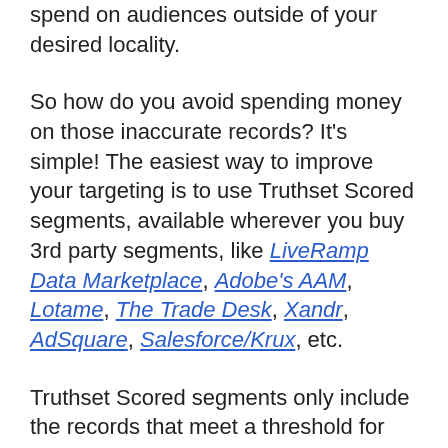spend on audiences outside of your desired locality.
So how do you avoid spending money on those inaccurate records? It's simple! The easiest way to improve your targeting is to use Truthset Scored segments, available wherever you buy 3rd party segments, like LiveRamp Data Marketplace, Adobe's AAM, Lotame, The Trade Desk, Xandr, AdSquare, Salesforce/Krux, etc.
Truthset Scored segments only include the records that meet a threshold for accuracy, meaning we've removed the IDs least likely to be the purported attribute of the segment, in this example, location. This leaves only the more